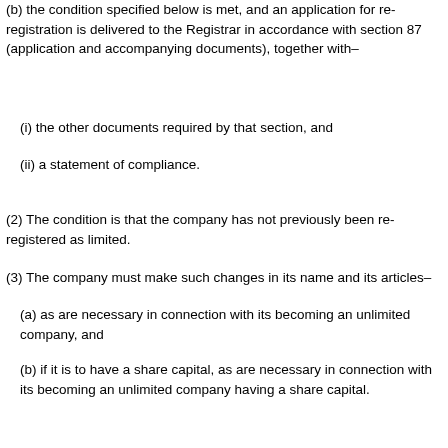(b) the condition specified below is met, and an application for re-registration is delivered to the Registrar in accordance with section 87 (application and accompanying documents), together with–
(i) the other documents required by that section, and
(ii) a statement of compliance.
(2) The condition is that the company has not previously been re-registered as limited.
(3) The company must make such changes in its name and its articles–
(a) as are necessary in connection with its becoming an unlimited company, and
(b) if it is to have a share capital, as are necessary in connection with its becoming an unlimited company having a share capital.